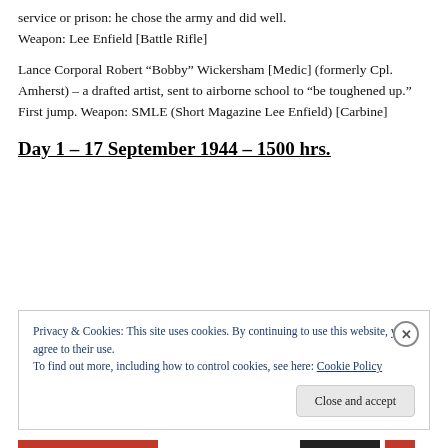service or prison: he chose the army and did well. Weapon: Lee Enfield [Battle Rifle]
Lance Corporal Robert “Bobby” Wickersham [Medic] (formerly Cpl. Amherst) – a drafted artist, sent to airborne school to “be toughened up.” First jump. Weapon: SMLE (Short Magazine Lee Enfield) [Carbine]
Day 1 – 17 September 1944 – 1500 hrs.
Privacy & Cookies: This site uses cookies. By continuing to use this website, you agree to their use.
To find out more, including how to control cookies, see here: Cookie Policy